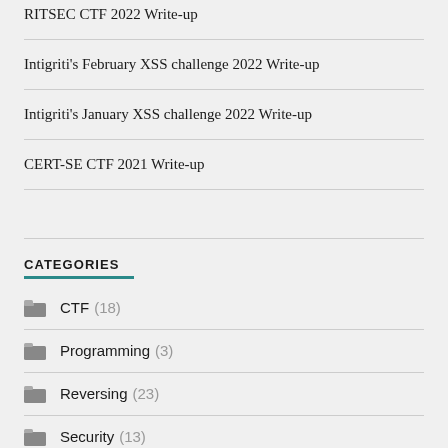RITSEC CTF 2022 Write-up
Intigriti's February XSS challenge 2022 Write-up
Intigriti's January XSS challenge 2022 Write-up
CERT-SE CTF 2021 Write-up
CATEGORIES
CTF (18)
Programming (3)
Reversing (23)
Security (13)